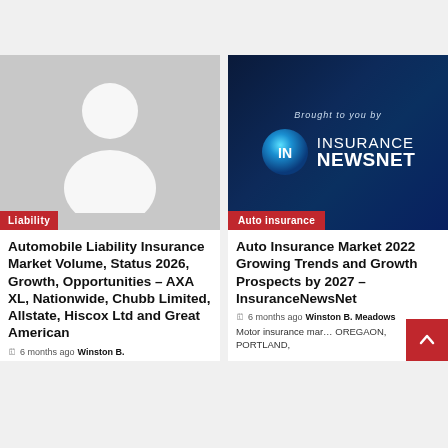[Figure (illustration): Grey placeholder image with white person silhouette]
Liability
Automobile Liability Insurance Market Volume, Status 2026, Growth, Opportunities – AXA XL, Nationwide, Chubb Limited, Allstate, Hiscox Ltd and Great American
🗓 6 months ago  Winston B.
[Figure (logo): Insurance NewsNet logo on dark starfield background with text 'Brought to you by INSURANCE NEWSNET']
Auto insurance
Auto Insurance Market 2022 Growing Trends and Growth Prospects by 2027 – InsuranceNewsNet
🗓 6 months ago  Winston B. Meadows
Motor insurance mar... OREGAON, PORTLAND,